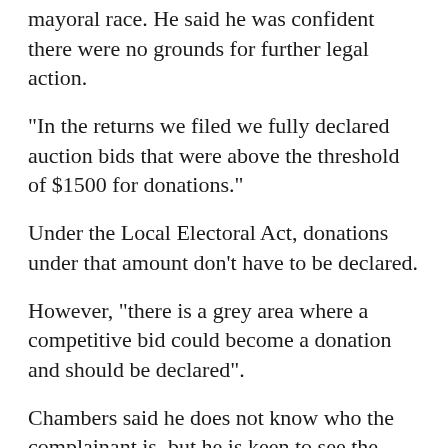mayoral race. He said he was confident there were no grounds for further legal action.
"In the returns we filed we fully declared auction bids that were above the threshold of $1500 for donations."
Under the Local Electoral Act, donations under that amount don't have to be declared.
However, "there is a grey area where a competitive bid could become a donation and should be declared".
Chambers said he does not know who the complainant is, but he is keen to see the issue resolved.
"Reputations are at stake and until there's an outcome we can't close the chapter and move on."